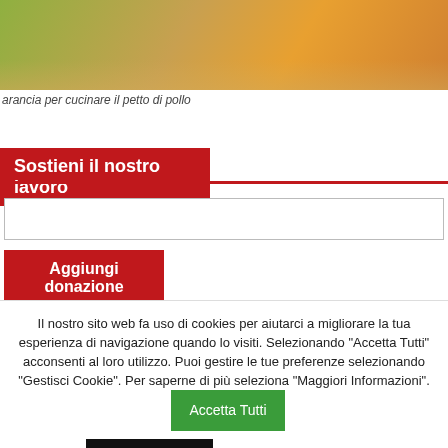[Figure (photo): Close-up photo of orange slices on a green cloth background, used for cooking chicken breast]
arancia per cucinare il petto di pollo
Sostieni il nostro lavoro
Aggiungi donazione
Il nostro sito web fa uso di cookies per aiutarci a migliorare la tua esperienza di navigazione quando lo visiti. Selezionando "Accetta Tutti" acconsenti al loro utilizzo. Puoi gestire le tue preferenze selezionando "Gestisci Cookie". Per saperne di più seleziona "Maggiori Informazioni".
Accetta Tutti
Gestisci Cookie
Maggiori Informazioni